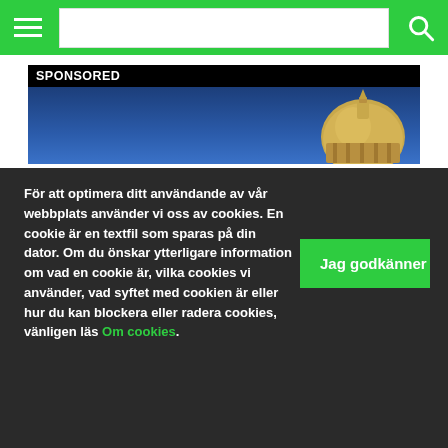Navigation bar with hamburger menu and search
[Figure (screenshot): Sponsored banner image showing a golden dome against a blue sky background]
För att optimera ditt användande av vår webbplats använder vi oss av cookies. En cookie är en textfil som sparas på din dator. Om du önskar ytterligare information om vad en cookie är, vilka cookies vi använder, vad syftet med cookien är eller hur du kan blockera eller radera cookies, vänligen läs Om cookies.